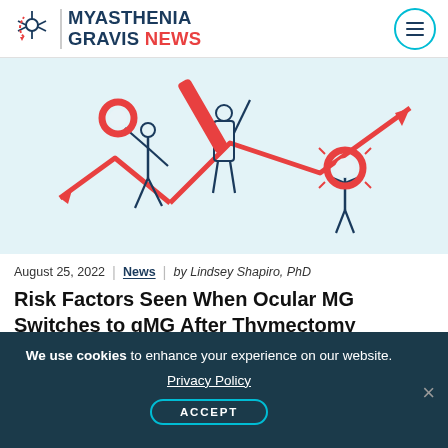MYASTHENIA GRAVIS NEWS
[Figure (illustration): Three illustrated figures of people in various poses holding ring-shaped and bar/pencil objects, with red arrow lines forming a chart-like zigzag pattern suggesting stock or data trends in the background. Light blue background.]
August 25, 2022 | News | by Lindsey Shapiro, PhD
Risk Factors Seen When Ocular MG Switches to gMG After Thymectomy
We use cookies to enhance your experience on our website. Privacy Policy ACCEPT